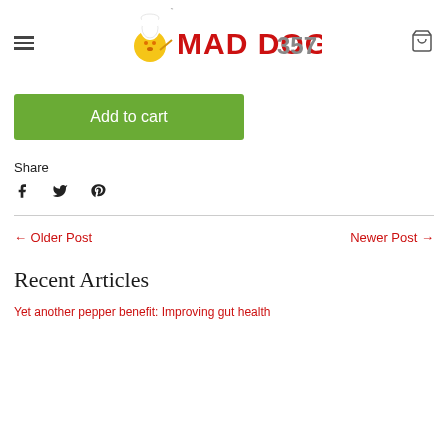MAD DOG 357
Add to cart
Share
← Older Post
Newer Post →
Recent Articles
Yet another pepper benefit: Improving gut health